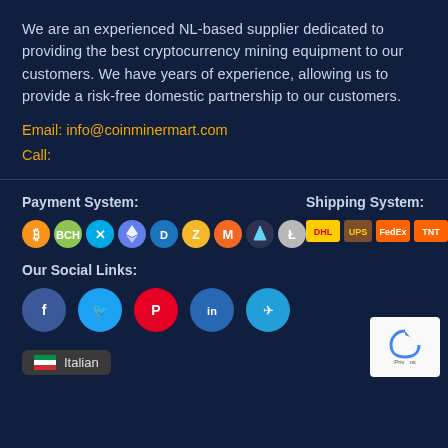We are an experienced NL-based supplier dedicated to providing the best cryptocurrency mining equipment to our customers. We have years of experience, allowing us to provide a risk-free domestic partnership to our customers.
Email: info@coinminermart.com
Call:
Payment System:
[Figure (logo): Row of cryptocurrency payment logos: Bitcoin, Bitcoin Cash, Ripple, Ethereum, Dash, Zcash, Monero, Augur, Litecoin]
Shipping System:
[Figure (logo): Row of shipping carrier logos: DHL, UPS, FedEx, TNT, DPD, GLS]
Our Social Links:
[Figure (logo): Social media icons: Facebook, Twitter, Pinterest, LinkedIn, Telegram]
Italian